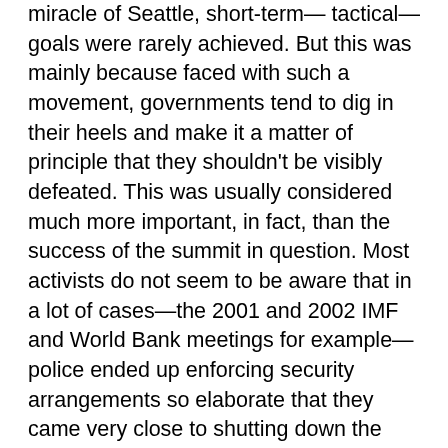miracle of Seattle, short-term— tactical—goals were rarely achieved. But this was mainly because faced with such a movement, governments tend to dig in their heels and make it a matter of principle that they shouldn't be visibly defeated. This was usually considered much more important, in fact, than the success of the summit in question. Most activists do not seem to be aware that in a lot of cases—the 2001 and 2002 IMF and World Bank meetings for example—police ended up enforcing security arrangements so elaborate that they came very close to shutting down the meetings themselves; ensuring that many events were cancelled, the ceremonies were ruined, and nobody really had a chance to talk to each other. But the point was not whether trade officials got to meet or not. The point was that the protesters could not be seen to win.